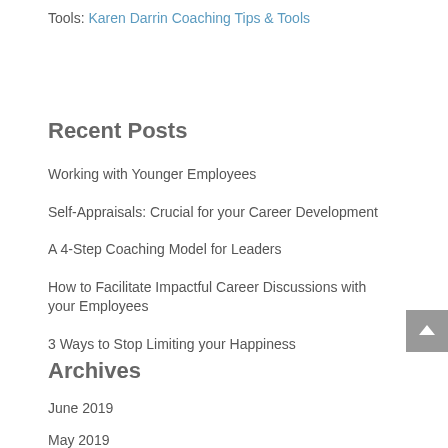Tools: Karen Darrin Coaching Tips & Tools
Recent Posts
Working with Younger Employees
Self-Appraisals: Crucial for your Career Development
A 4-Step Coaching Model for Leaders
How to Facilitate Impactful Career Discussions with your Employees
3 Ways to Stop Limiting your Happiness
Archives
June 2019
May 2019
April 2019